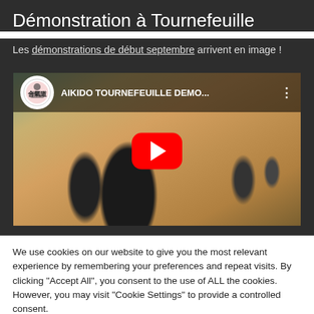Démonstration à Tournefeuille
Les démonstrations de début septembre arrivent en image !
[Figure (screenshot): YouTube video thumbnail showing an Aikido demonstration at Tournefeuille. The video is titled 'AIKIDO TOURNEFEUILLE DEMO...' with a red play button in the center. The channel logo (circular, black and white) is visible in the top-left of the video player.]
We use cookies on our website to give you the most relevant experience by remembering your preferences and repeat visits. By clicking "Accept All", you consent to the use of ALL the cookies. However, you may visit "Cookie Settings" to provide a controlled consent.
Cookie Settings
Accept All